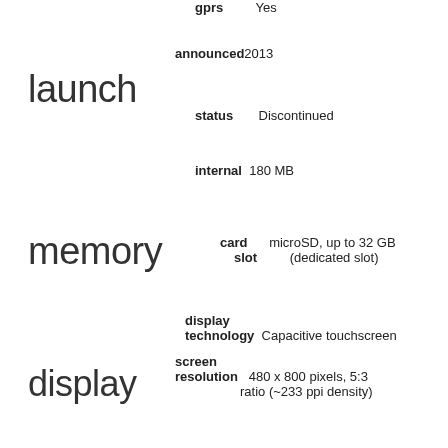gprs   Yes
announced 2013
launch
status   Discontinued
internal   180 MB
memory
card slot   microSD, up to 32 GB (dedicated slot)
display technology   Capacitive touchscreen
screen resolution   480 x 800 pixels, 5:3 ratio (~233 ppi density)
display
screen size   4.0 inches, 45.5 cm (~57.7% screen-to-body ratio)
colors   White/Black
dimensions (wxhxd)   124 x 63.6 x 12.4 mm (4.88 x 2.50 x 0.49 in)
design
weight   110 g (3.88 oz)
sim   Dual SIM
main single 3.15 MP
main camera
main video Yes